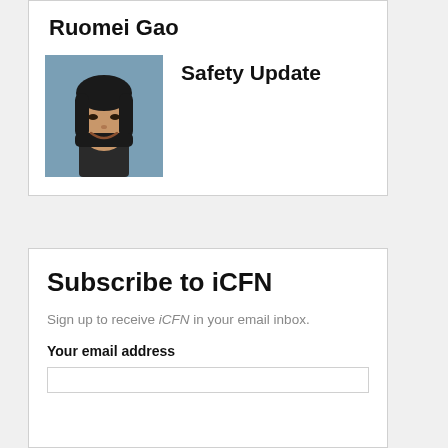Ruomei Gao
[Figure (photo): Headshot of Ruomei Gao, a woman with dark hair, smiling, against a blue background]
Safety Update
Subscribe to iCFN
Sign up to receive iCFN in your email inbox.
Your email address